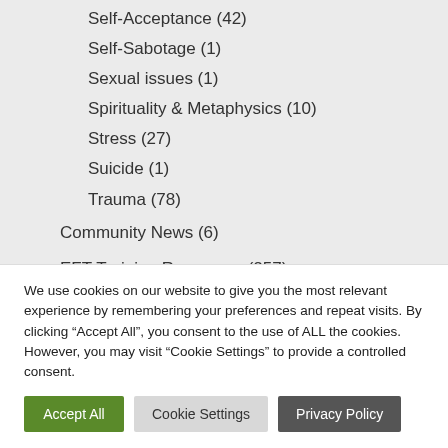Self-Acceptance (42)
Self-Sabotage (1)
Sexual issues (1)
Spirituality & Metaphysics (10)
Stress (27)
Suicide (1)
Trauma (78)
Community News (6)
EFT Training Resources (257)
We use cookies on our website to give you the most relevant experience by remembering your preferences and repeat visits. By clicking “Accept All”, you consent to the use of ALL the cookies. However, you may visit “Cookie Settings” to provide a controlled consent.